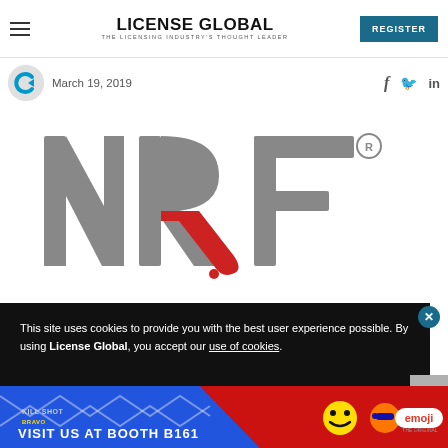LICENSE GLOBAL — THE LICENSING INDUSTRY'S THOUGHT LEADER | REGISTER
March 19, 2019
[Figure (logo): NRF logo — large letters N, R, F in gray and red with registered trademark symbol]
This site uses cookies to provide you with the best user experience possible. By using License Global, you accept our use of cookies.
[Figure (photo): Emoji brand advertisement banner: VISIT US AT BOOTH B161 with emoji characters and emoji logo on blue/red background]